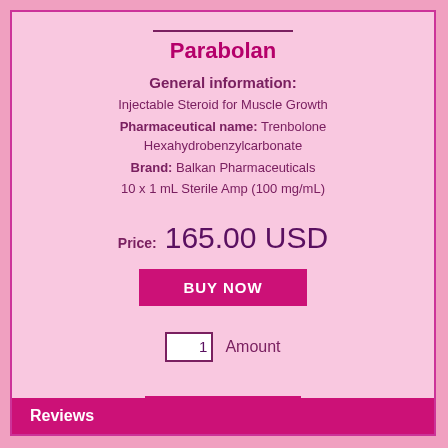Parabolan
General information:
Injectable Steroid for Muscle Growth
Pharmaceutical name: Trenbolone Hexahydrobenzylcarbonate
Brand: Balkan Pharmaceuticals
10 x 1 mL Sterile Amp (100 mg/mL)
Price: 165.00 USD
BUY NOW
1  Amount
← Back
Reviews